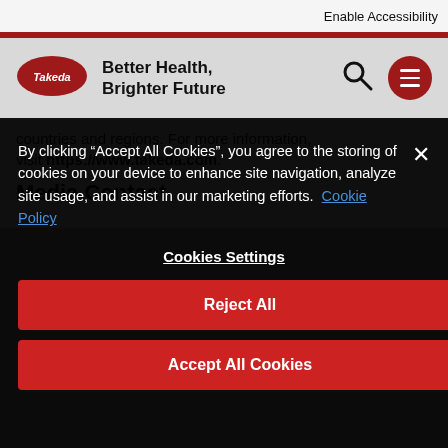Enable Accessibility
[Figure (logo): Takeda logo with tagline: Better Health, Brighter Future]
countries and regions. For more information, visit https://www.takeda.com.
Media Contact
By clicking “Accept All Cookies”, you agree to the storing of cookies on your device to enhance site navigation, analyze site usage, and assist in our marketing efforts. Cookie Policy
Cookies Settings
Reject All
Accept All Cookies